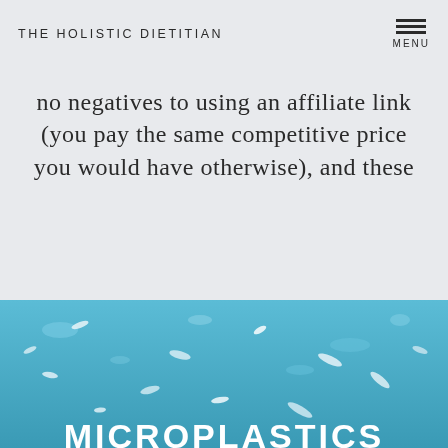THE HOLISTIC DIETITIAN
no negatives to using an affiliate link (you pay the same competitive price you would have otherwise), and these
READ NOW
[Figure (photo): Blue water background with white floating particles (microplastics), with partial text 'MICROPLASTICS' visible at bottom in white bold letters]